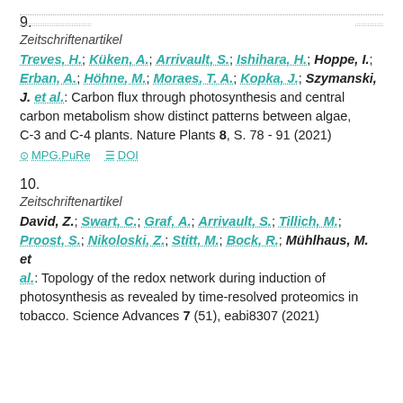9.
Zeitschriftenartikel
Treves, H.; Küken, A.; Arrivault, S.; Ishihara, H.; Hoppe, I.; Erban, A.; Höhne, M.; Moraes, T. A.; Kopka, J.; Szymanski, J. et al.: Carbon flux through photosynthesis and central carbon metabolism show distinct patterns between algae, C-3 and C-4 plants. Nature Plants 8, S. 78 - 91 (2021)
MPG.PuRe   DOI
10.
Zeitschriftenartikel
David, Z.; Swart, C.; Graf, A.; Arrivault, S.; Tillich, M.; Proost, S.; Nikoloski, Z.; Stitt, M.; Bock, R.; Mühlhaus, M. et al.: Topology of the redox network during induction of photosynthesis as revealed by time-resolved proteomics in tobacco. Science Advances 7 (51), eabi8307 (2021)